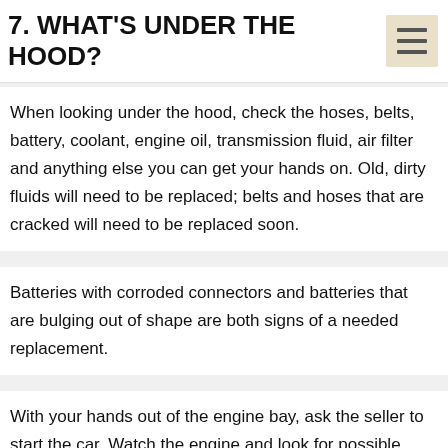7. WHAT'S UNDER THE HOOD?
When looking under the hood, check the hoses, belts, battery, coolant, engine oil, transmission fluid, air filter and anything else you can get your hands on. Old, dirty fluids will need to be replaced; belts and hoses that are cracked will need to be replaced soon.
Batteries with corroded connectors and batteries that are bulging out of shape are both signs of a needed replacement.
With your hands out of the engine bay, ask the seller to start the car. Watch the engine and look for possible leaks or smoke. Listen for rattles, a rough idle or anything else that sounds out of the ordinary based on your research.